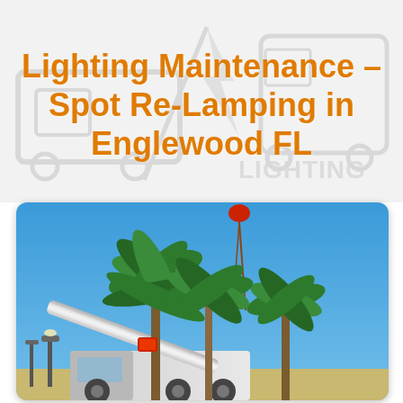Lighting Maintenance - Spot Re-Lamping in Englewood FL
[Figure (photo): A bucket truck / crane lift with an extended white boom arm raised high above palm trees against a bright blue sky, used for lighting maintenance re-lamping work in Englewood, FL.]